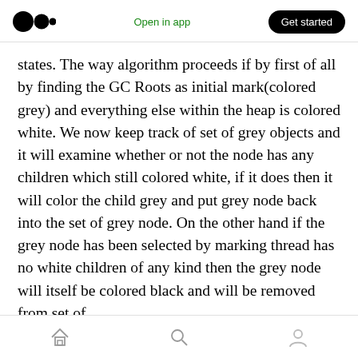Medium logo | Open in app | Get started
states. The way algorithm proceeds if by first of all by finding the GC Roots as initial mark(colored grey) and everything else within the heap is colored white. We now keep track of set of grey objects and it will examine whether or not the node has any children which still colored white, if it does then it will color the child grey and put grey node back into the set of grey node. On the other hand if the grey node has been selected by marking thread has no white children of any kind then the grey node will itself be colored black and will be removed from set of
Home | Search | Profile